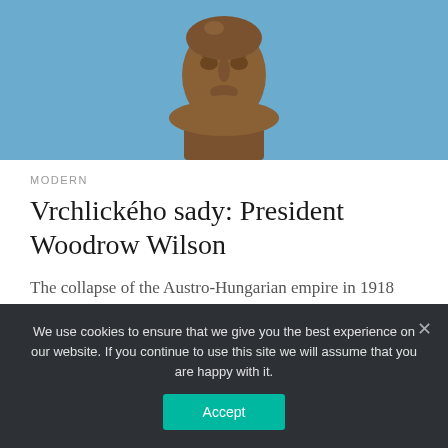[Figure (photo): Bronze statue bust of Woodrow Wilson against a blue sky background, cropped to show only the head and upper portion]
MODERN
Vrchlického sady: President Woodrow Wilson
The collapse of the Austro-Hungarian empire in 1918 saw the emergence of a number of independent European nation-states, of which Czechoslovakia was one. Instrumental in the creation of the new republic was the then president
We use cookies to ensure that we give you the best experience on our website. If you continue to use this site we will assume that you are happy with it.